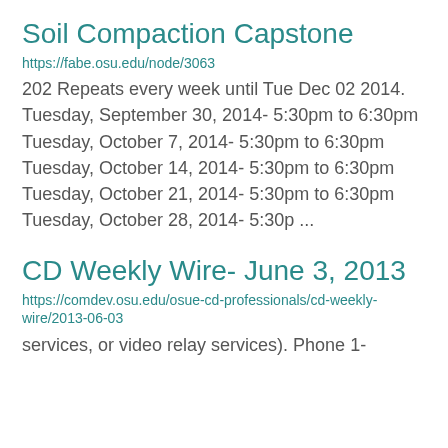Soil Compaction Capstone
https://fabe.osu.edu/node/3063
202 Repeats every week until Tue Dec 02 2014. Tuesday, September 30, 2014- 5:30pm to 6:30pm Tuesday, October 7, 2014- 5:30pm to 6:30pm Tuesday, October 14, 2014- 5:30pm to 6:30pm Tuesday, October 21, 2014- 5:30pm to 6:30pm Tuesday, October 28, 2014- 5:30p ...
CD Weekly Wire- June 3, 2013
https://comdev.osu.edu/osue-cd-professionals/cd-weekly-wire/2013-06-03
services, or video relay services). Phone 1-